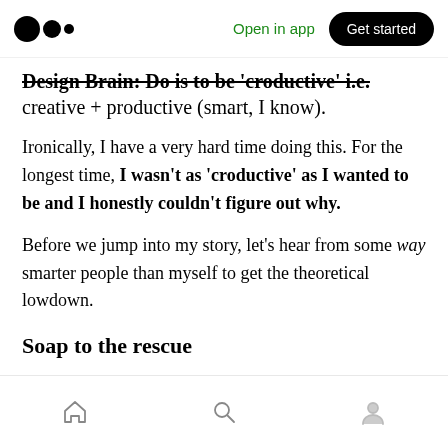Open in app | Get started
Design Brain: Do is to be 'croductive' i.e. creative + productive (smart, I know).
Ironically, I have a very hard time doing this. For the longest time, I wasn't as 'croductive' as I wanted to be and I honestly couldn't figure out why.
Before we jump into my story, let's hear from some way smarter people than myself to get the theoretical lowdown.
Soap to the rescue
Home | Search | Profile